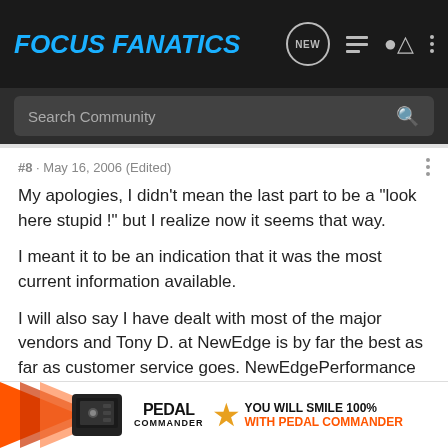FOCUS FANATICS
#8 · May 16, 2006 (Edited)
My apologies, I didn't mean the last part to be a "look here stupid !" but I realize now it seems that way.
I meant it to be an indication that it was the most current information available.
I will also say I have dealt with most of the major vendors and Tony D. at NewEdge is by far the best as far as customer service goes. NewEdgePerformance gets my first look whenever I am wanting something.
[Figure (other): Pedal Commander advertisement banner with orange arrow graphic, pedal controller device, PEDAL COMMANDER logo with star, and text YOU WILL SMILE 100% WITH PEDAL COMMANDER]